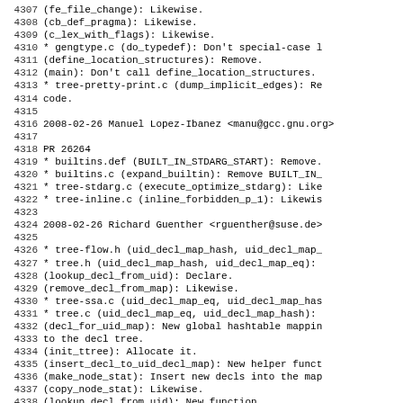Source code changelog/log entries (GCC project), lines 4307-4338
4307        (fe_file_change): Likewise.
4308        (cb_def_pragma): Likewise.
4309        (c_lex_with_flags): Likewise.
4310        * gengtype.c (do_typedef): Don't special-case l
4311        (define_location_structures): Remove.
4312        (main): Don't call define_location_structures.
4313        * tree-pretty-print.c (dump_implicit_edges): Re
4314        code.
4315
4316 2008-02-26  Manuel Lopez-Ibanez  <manu@gcc.gnu.org>
4317
4318        PR 26264
4319        * builtins.def (BUILT_IN_STDARG_START): Remove.
4320        * builtins.c (expand_builtin): Remove BUILT_IN_
4321        * tree-stdarg.c (execute_optimize_stdarg): Like
4322        * tree-inline.c (inline_forbidden_p_1): Likewise
4323
4324 2008-02-26  Richard Guenther  <rguenther@suse.de>
4325
4326        * tree-flow.h (uid_decl_map_hash, uid_decl_map_
4327        * tree.h (uid_decl_map_hash, uid_decl_map_eq):
4328        (lookup_decl_from_uid): Declare.
4329        (remove_decl_from_map): Likewise.
4330        * tree-ssa.c (uid_decl_map_eq, uid_decl_map_has
4331        * tree.c (uid_decl_map_eq, uid_decl_map_hash):
4332        (decl_for_uid_map): New global hashtable mappin
4333        to the decl tree.
4334        (init_ttree): Allocate it.
4335        (insert_decl_to_uid_decl_map): New helper funct
4336        (make_node_stat): Insert new decls into the map
4337        (copy_node_stat): Likewise.
4338        (lookup_decl_from_uid): New function.